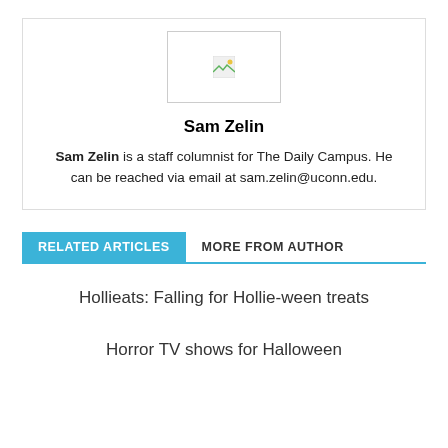[Figure (photo): Author photo placeholder image for Sam Zelin]
Sam Zelin
Sam Zelin is a staff columnist for The Daily Campus. He can be reached via email at sam.zelin@uconn.edu.
RELATED ARTICLES
MORE FROM AUTHOR
Hollieats: Falling for Hollie-ween treats
Horror TV shows for Halloween